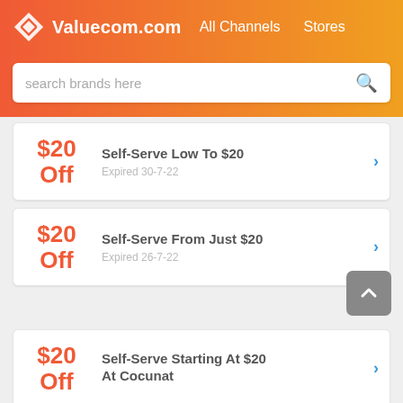Valuecom.com  All Channels  Stores
search brands here
$20 Off – Self-Serve Low To $20 – Expired 30-7-22
$20 Off – Self-Serve From Just $20 – Expired 26-7-22
$20 Off – Self-Serve Starting At $20 At Cocunat